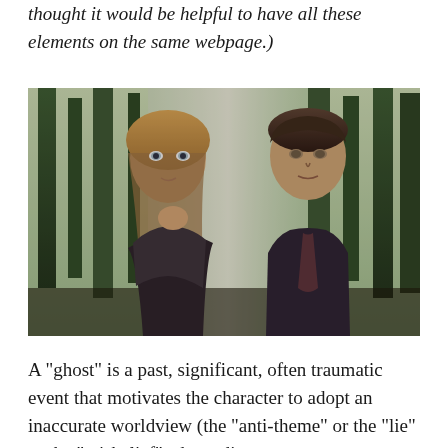thought it would be helpful to have all these elements on the same webpage.)
[Figure (photo): Two people (a woman with blonde hair and a man in a dark suit) sitting outdoors with trees in the background, appearing to be from a TV show (X-Files style).]
A "ghost" is a past, significant, often traumatic event that motivates the character to adopt an inaccurate worldview (the "anti-theme" or the "lie" or the "misbelief"--depending on your